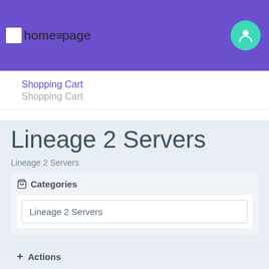homepage
Shopping Cart
Shopping Cart
Lineage 2 Servers
Lineage 2 Servers
Categories
Lineage 2 Servers
Actions